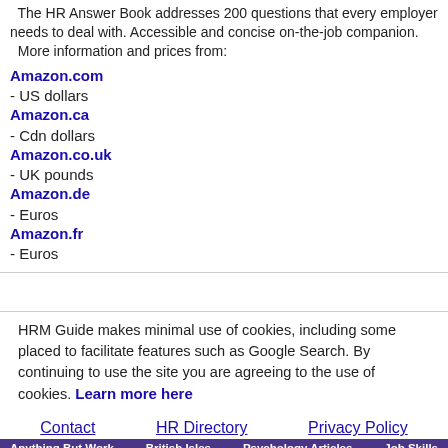The HR Answer Book addresses 200 questions that every employer needs to deal with. Accessible and concise on-the-job companion.
  More information and prices from:
Amazon.com - US dollars
Amazon.ca - Cdn dollars
Amazon.co.uk - UK pounds
Amazon.de - Euros
Amazon.fr - Euros
HRM Guide makes minimal use of cookies, including some placed to facilitate features such as Google Search. By continuing to use the site you are agreeing to the use of cookies. Learn more here
Contact | HR Directory | Privacy Policy
Anything But Work | British Isles | Psychology Articles | Job Skills
Copyright © 1997-2022 Alan Price and HRM Guide contributors. All rights reserved.